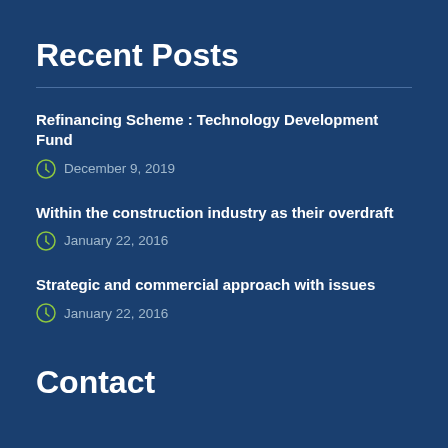Recent Posts
Refinancing Scheme : Technology Development Fund
December 9, 2019
Within the construction industry as their overdraft
January 22, 2016
Strategic and commercial approach with issues
January 22, 2016
Contact